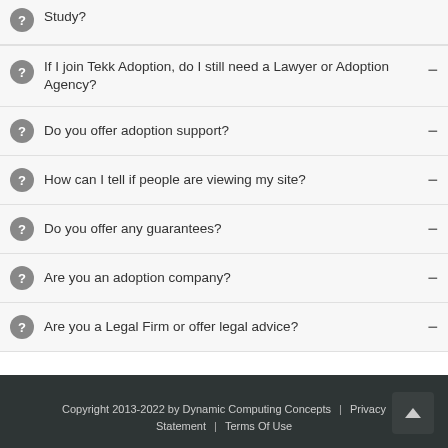If I join Tekk Adoption, do I still need a Lawyer or Adoption Agency?
Do you offer adoption support?
How can I tell if people are viewing my site?
Do you offer any guarantees?
Are you an adoption company?
Are you a Legal Firm or offer legal advice?
Copyright 2013-2022 by Dynamic Computing Concepts | Privacy Statement | Terms Of Use